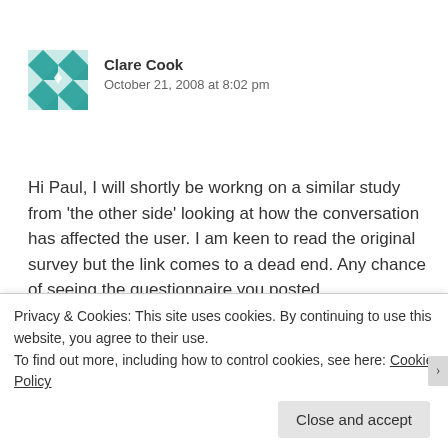[Figure (illustration): Teal and white geometric/quilt-pattern avatar icon for user Clare Cook]
Clare Cook
October 21, 2008 at 8:02 pm
Hi Paul, I will shortly be workng on a similar study from 'the other side' looking at how the conversation has affected the user. I am keen to read the original survey but the link comes to a dead end. Any chance of seeing the questionnaire you posted
Privacy & Cookies: This site uses cookies. By continuing to use this website, you agree to their use.
To find out more, including how to control cookies, see here: Cookie Policy
Close and accept